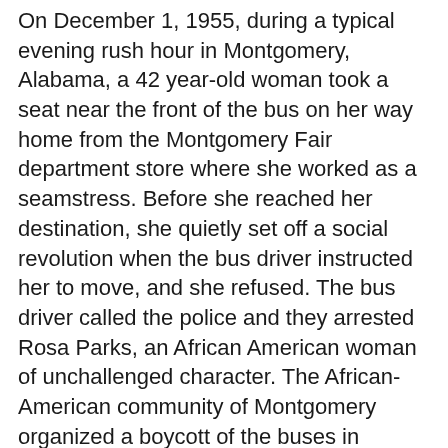On December 1, 1955, during a typical evening rush hour in Montgomery, Alabama, a 42 year-old woman took a seat near the front of the bus on her way home from the Montgomery Fair department store where she worked as a seamstress. Before she reached her destination, she quietly set off a social revolution when the bus driver instructed her to move, and she refused. The bus driver called the police and they arrested Rosa Parks, an African American woman of unchallenged character. The African-American community of Montgomery organized a boycott of the buses in protest of the discriminating treatment they had endured for years. The boycott, under the leadership of 26-year-old minister Martin Luther King, Jr., was a peaceful, coordinated protest that lasted 381 days and captured world attention.
Mrs. Parks, who passed away on October 24, was called the "Mother of the Civil Rights Movement." She was not the first person to be prosecuted for violating the segregation laws on the city buses, but it was her quiet act of defiance that touched a nerve in the black community of Montgomery, Alabama, and set in motion a historic act of resistance